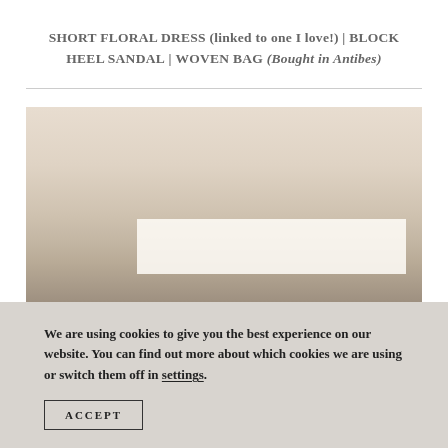SHORT FLORAL DRESS (linked to one I love!) | BLOCK HEEL SANDAL | WOVEN BAG (Bought in Antibes)
[Figure (photo): Partial photo showing a light beige/cream scene, possibly an outdoor Mediterranean setting with a white rectangular structure or furniture visible at the bottom]
We are using cookies to give you the best experience on our website. You can find out more about which cookies we are using or switch them off in settings.